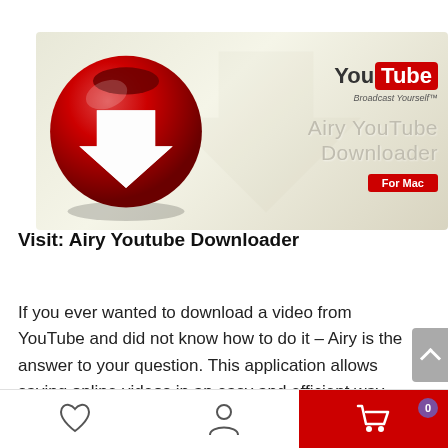[Figure (illustration): Airy YouTube Downloader promotional banner with a red 3D ball with white download arrow, YouTube logo, text 'Airy YouTube Downloader' and 'For Mac' badge on a light beige/cream background with watermark arrow.]
Visit: Airy Youtube Downloader
If you ever wanted to download a video from YouTube and did not know how to do it – Airy is the answer to your question. This application allows saving online videos in an easy and efficient way. Now you can watch YouTube